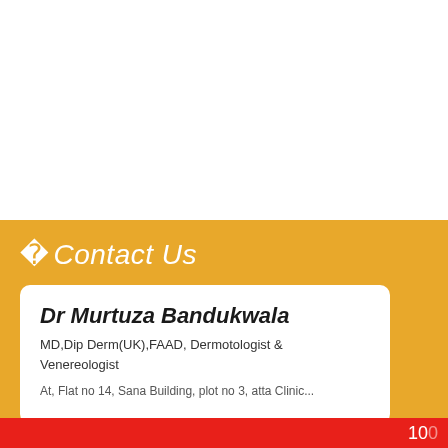📞Contact Us
Dr Murtuza Bandukwala
MD,Dip Derm(UK),FAAD, Dermotologist & Venereologist
100